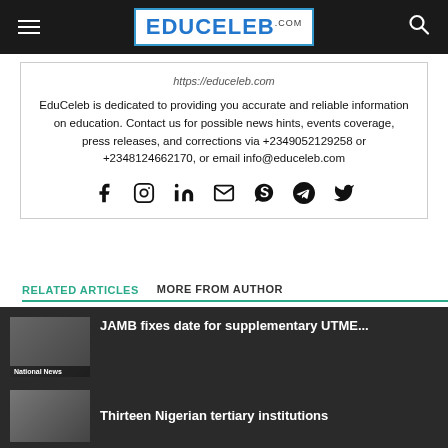EDUCELEB.COM
https://educeleb.com
EduCeleb is dedicated to providing you accurate and reliable information on education. Contact us for possible news hints, events coverage, press releases, and corrections via +2349052129258 or +2348124662170, or email info@educeleb.com
[Figure (infographic): Social media icons: Facebook, Instagram, LinkedIn, Email, Skype, Telegram, Twitter]
RELATED ARTICLES    MORE FROM AUTHOR
JAMB fixes date for supplementary UTME...
Privacy Preferences
I Agree
Thirteen Nigerian tertiary institutions